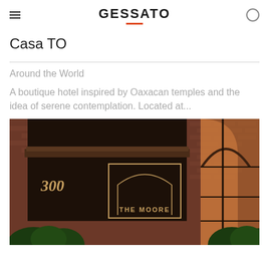GESSATO
Casa TO
Around the World
A boutique hotel inspired by Oaxacan temples and the idea of serene contemplation. Located at...
[Figure (photo): Exterior facade of The Moore hotel showing brick wall with dark panel, arched logo sign reading THE MOORE with number 300, and glass arched doorway with warm amber lighting, flanked by dark green shrubs]